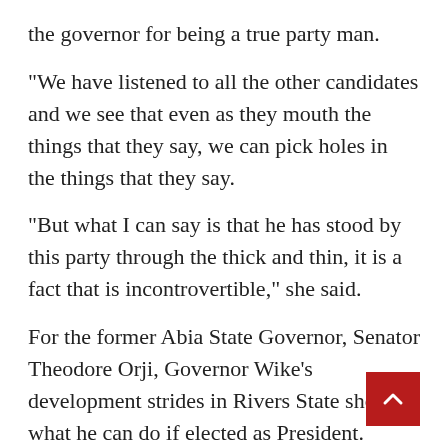the governor for being a true party man.
“We have listened to all the other candidates and we see that even as they mouth the things that they say, we can pick holes in the things that they say.
“But what I can say is that he has stood by this party through the thick and thin, it is a fact that is incontrovertible,” she said.
For the former Abia State Governor, Senator Theodore Orji, Governor Wike’s development strides in Rivers State shows what he can do if elected as President.
“Your character has been constant, I can testify to your performance. In fact, you don’t need to advertise yourself, what you do will always advertise you,” he said.